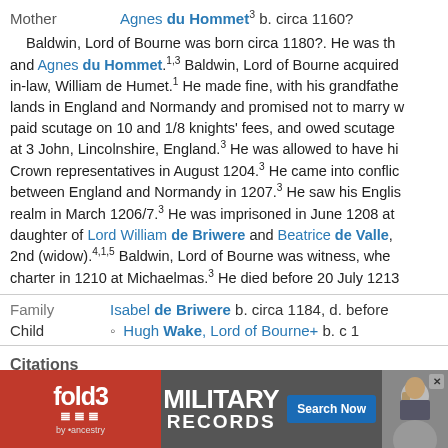Mother   Agnes du Hommet³ b. circa 1160?
Baldwin, Lord of Bourne was born circa 1180?. He was th... and Agnes du Hommet.¹˒³ Baldwin, Lord of Bourne acquired... in-law, William de Humet.¹ He made fine, with his grandfathe... lands in England and Normandy and promised not to marry w... paid scutage on 10 and 1/8 knights' fees, and owed scutage ... at 3 John, Lincolnshire, England.³ He was allowed to have hi... Crown representatives in August 1204.³ He came into conflic... between England and Normandy in 1207.³ He saw his Englis... realm in March 1206/7.³ He was imprisoned in June 1208 at ... daughter of Lord William de Briwere and Beatrice de Valle, ... 2nd (widow).⁴˒¹˒⁵ Baldwin, Lord of Bourne was witness, whe... charter in 1210 at Michaelmas.³ He died before 20 July 1213...
Family   Isabel de Briwere b. circa 1184, d. before...
Child   • Hugh Wake, Lord of Bourne+ b. c 1...
Citations
[S603] C.B., LL.D., Ulster King of Arms Sir Bernard Burke, B:xP, pg...
[S1192] Jared L. Olar (e-mail address), the Fair Maid of Kent) Wake... 20...
[S...   ...CP, XII/23...
[S...
[Figure (other): fold3 Military Records advertisement banner with ancestry.com branding and Search Now button]